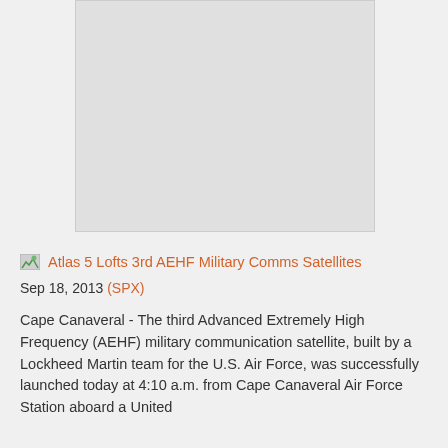[Figure (photo): Placeholder image area (light gray rectangle) representing a photo of the Atlas 5 rocket launch]
Atlas 5 Lofts 3rd AEHF Military Comms Satellites
Sep 18, 2013 (SPX)
Cape Canaveral - The third Advanced Extremely High Frequency (AEHF) military communication satellite, built by a Lockheed Martin team for the U.S. Air Force, was successfully launched today at 4:10 a.m. from Cape Canaveral Air Force Station aboard a United